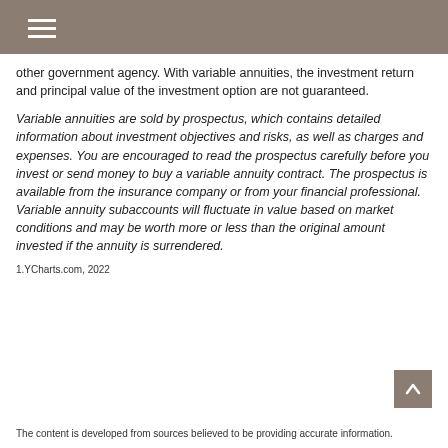other government agency. With variable annuities, the investment return and principal value of the investment option are not guaranteed.
Variable annuities are sold by prospectus, which contains detailed information about investment objectives and risks, as well as charges and expenses. You are encouraged to read the prospectus carefully before you invest or send money to buy a variable annuity contract. The prospectus is available from the insurance company or from your financial professional. Variable annuity subaccounts will fluctuate in value based on market conditions and may be worth more or less than the original amount invested if the annuity is surrendered.
1.YCharts.com, 2022
The content is developed from sources believed to be providing accurate information.